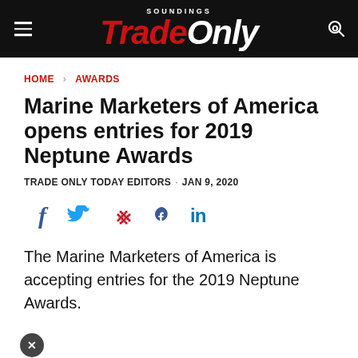Soundings Trade Only
HOME > AWARDS
Marine Marketers of America opens entries for 2019 Neptune Awards
TRADE ONLY TODAY EDITORS · JAN 9, 2020
[Figure (infographic): Social media share icons: Facebook (f), Twitter (bird), Pinterest (P), LinkedIn (in)]
The Marine Marketers of America is accepting entries for the 2019 Neptune Awards.